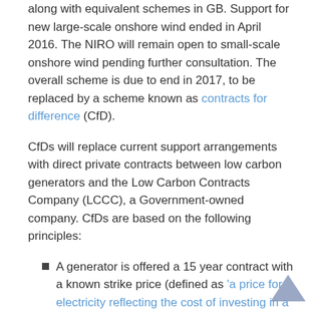along with equivalent schemes in GB. Support for new large-scale onshore wind ended in April 2016. The NIRO will remain open to small-scale onshore wind pending further consultation. The overall scheme is due to end in 2017, to be replaced by a scheme known as contracts for difference (CfD).
CfDs will replace current support arrangements with direct private contracts between low carbon generators and the Low Carbon Contracts Company (LCCC), a Government-owned company. CfDs are based on the following principles:
A generator is offered a 15 year contract with a known strike price (defined as 'a price for electricity reflecting the cost of investing in a particular low carbon technology') for the renewable electricity sold.
If the market price for electricity is below the strike price, the generator gets paid the difference between the strike price and the...